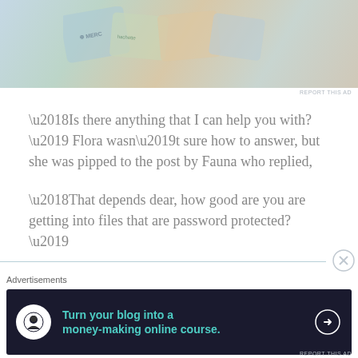[Figure (photo): Top advertisement image showing colorful product packaging including Merck branded items]
REPORT THIS AD
‘Is there anything that I can help you with?’ Flora wasn’t sure how to answer, but she was pipped to the post by Fauna who replied,
‘That depends dear, how good are you are getting into files that are password protected?’
Advertisements
[Figure (infographic): Dark advertisement banner: Turn your blog into a money-making online course. with arrow and Teachable logo]
REPORT THIS AD